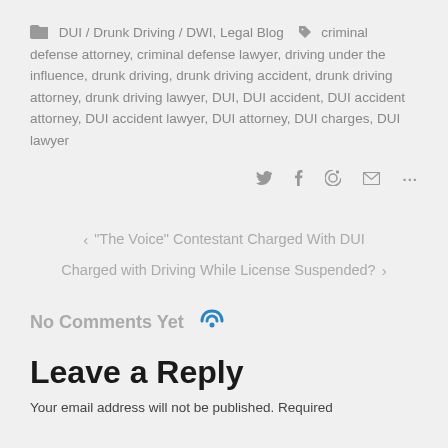DUI / Drunk Driving / DWI, Legal Blog   criminal defense attorney, criminal defense lawyer, driving under the influence, drunk driving, drunk driving accident, drunk driving attorney, drunk driving lawyer, DUI, DUI accident, DUI accident attorney, DUI accident lawyer, DUI attorney, DUI charges, DUI lawyer
[Figure (other): Social share icons: Twitter, Facebook, Pinterest, Email, More (...)]
< "The Voice" Contestant Charged With DUI
Charged with Driving While License Suspended? >
No Comments Yet
Leave a Reply
Your email address will not be published. Required